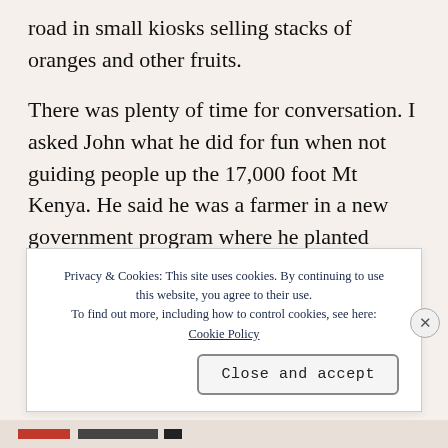road in small kiosks selling stacks of oranges and other fruits.
There was plenty of time for conversation. I asked John what he did for fun when not guiding people up the 17,000 foot Mt Kenya. He said he was a farmer in a new government program where he planted potatoes then trees among the potatoes. As the trees grew and began to shade the potatoes, he
Privacy & Cookies: This site uses cookies. By continuing to use this website, you agree to their use. To find out more, including how to control cookies, see here: Cookie Policy
Close and accept